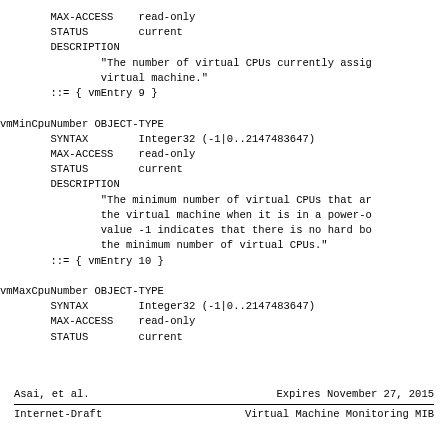MAX-ACCESS    read-only
        STATUS        current
        DESCRIPTION
                "The number of virtual CPUs currently assig
                virtual machine."
        ::= { vmEntry 9 }

vmMinCpuNumber OBJECT-TYPE
        SYNTAX        Integer32 (-1|0..2147483647)
        MAX-ACCESS    read-only
        STATUS        current
        DESCRIPTION
                "The minimum number of virtual CPUs that ar
                the virtual machine when it is in a power-o
                value -1 indicates that there is no hard bo
                the minimum number of virtual CPUs."
        ::= { vmEntry 10 }

vmMaxCpuNumber OBJECT-TYPE
        SYNTAX        Integer32 (-1|0..2147483647)
        MAX-ACCESS    read-only
        STATUS        current
Asai, et al.          Expires November 27, 2015
Internet-Draft        Virtual Machine Monitoring MIB